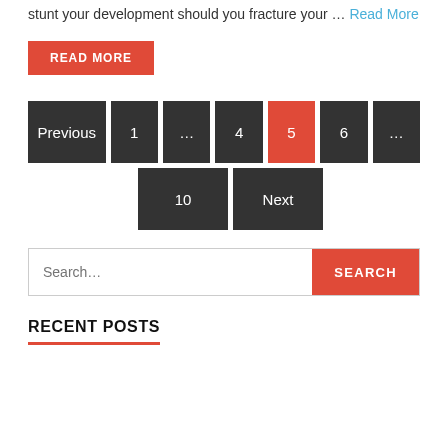stunt your development should you fracture your … Read More
READ MORE
[Figure (other): Pagination navigation with buttons: Previous, 1, …, 4, 5 (active/red), 6, …, 10, Next]
Search…
RECENT POSTS